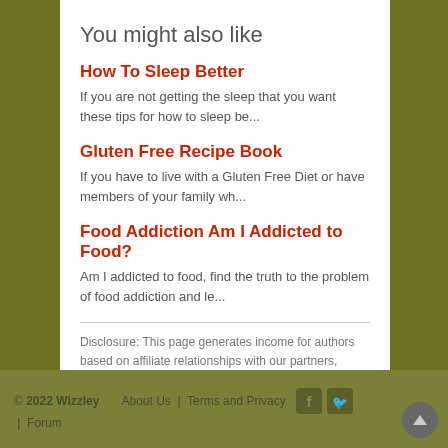You might also like
How To Sleep Better
If you are not getting the sleep that you want these tips for how to sleep be...
Gluten Free Recipe Book
If you have to live with a Gluten Free Diet or have members of your family wh...
Food Addiction Am I Addicted to Food?
Am I addicted to food, find the truth to the problem of food addiction and le...
Disclosure: This page generates income for authors based on affiliate relationships with our partners, including Amazon, Google and others.
© 2022 Wizzley   About Us | Terms and Privacy | Forum